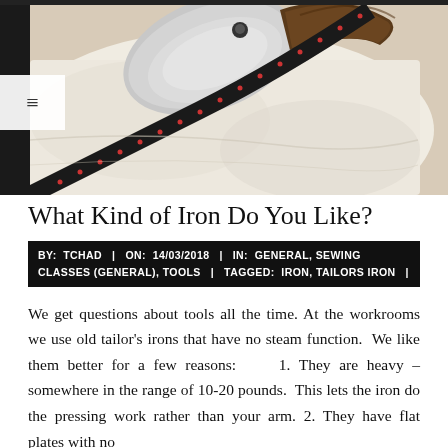[Figure (photo): Close-up photo of a silver iron with a dark decorative ribbon/strap on white fabric, viewed from above]
What Kind of Iron Do You Like?
BY: TCHAD  |  ON: 14/03/2018  |  IN: GENERAL, SEWING CLASSES (GENERAL), TOOLS  |  TAGGED: IRON, TAILORS IRON  |
We get questions about tools all the time. At the workrooms we use old tailor's irons that have no steam function.  We like them better for a few reasons:    1. They are heavy – somewhere in the range of 10-20 pounds.  This lets the iron do the pressing work rather than your arm. 2. They have flat plates with no